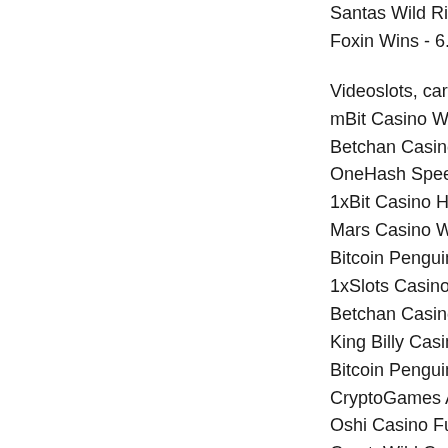Santas Wild Ride - 8...
Foxin Wins - 6.1 usd...
Videoslots, card and...
mBit Casino World S...
Betchan Casino Bicic...
OneHash Speed Her...
1xBit Casino Horror ...
Mars Casino Wild Ru...
Bitcoin Penguin Casi...
1xSlots Casino Worl...
Betchan Casino Dr. J...
King Billy Casino Ban...
Bitcoin Penguin Casi...
CryptoGames Attack...
Oshi Casino Fu Lu S...
CryptoWild Casino H...
BitStarz Casino Foot...
mBTC free bet Phan...
https://www.thepawg...